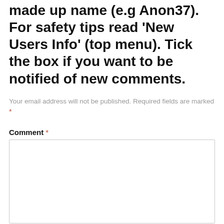made up name (e.g Anon37). For safety tips read 'New Users Info' (top menu). Tick the box if you want to be notified of new comments.
Your email address will not be published. Required fields are marked *
Comment *